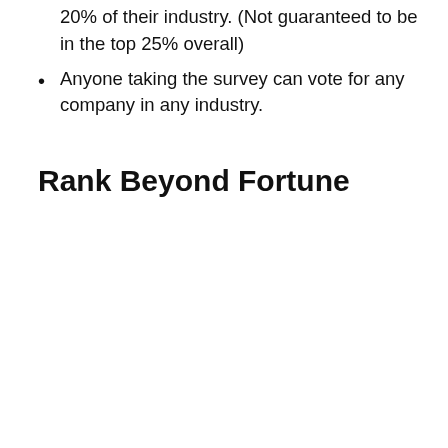20% of their industry. (Not guaranteed to be in the top 25% overall)
Anyone taking the survey can vote for any company in any industry.
Rank Beyond Fortune